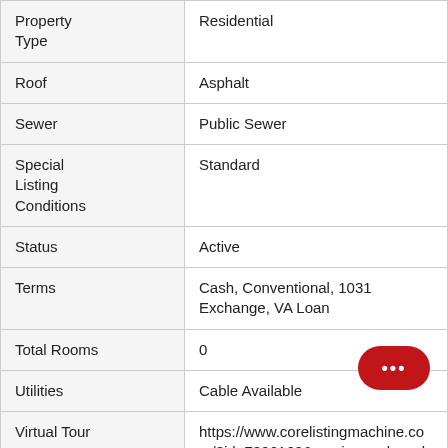| Field | Value |
| --- | --- |
| Property Type | Residential |
| Roof | Asphalt |
| Sewer | Public Sewer |
| Special Listing Conditions | Standard |
| Status | Active |
| Terms | Cash, Conventional, 1031 Exchange, VA Loan |
| Total Rooms | 0 |
| Utilities | Cable Available |
| Virtual Tour | https://www.corelistingmachine.co…/?id=7396160&version=unbranded#.YnuWodjMKUk |
| Waterfront | Beach Access |